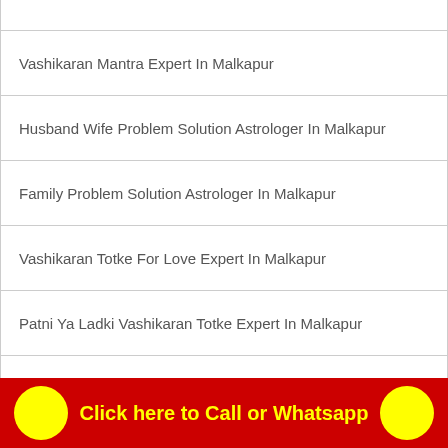Vashikaran Mantra Expert In Malkapur
Husband Wife Problem Solution Astrologer In Malkapur
Family Problem Solution Astrologer In Malkapur
Vashikaran Totke For Love Expert In Malkapur
Patni Ya Ladki Vashikaran Totke Expert In Malkapur
Mantra To Make Someone Love Expert In Malkapur
Vashikaran Specialist In Malkapur
Astrologer in Malkapur
Love Spell To Make Him Come Back Expert In Malkapur
Click here to Call or Whatsapp